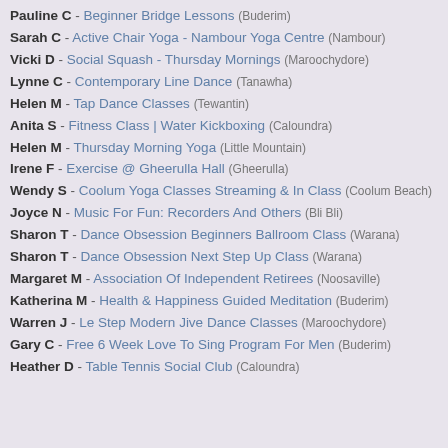Pauline C - Beginner Bridge Lessons (Buderim)
Sarah C - Active Chair Yoga - Nambour Yoga Centre (Nambour)
Vicki D - Social Squash - Thursday Mornings (Maroochydore)
Lynne C - Contemporary Line Dance (Tanawha)
Helen M - Tap Dance Classes (Tewantin)
Anita S - Fitness Class | Water Kickboxing (Caloundra)
Helen M - Thursday Morning Yoga (Little Mountain)
Irene F - Exercise @ Gheerulla Hall (Gheerulla)
Wendy S - Coolum Yoga Classes Streaming & In Class (Coolum Beach)
Joyce N - Music For Fun: Recorders And Others (Bli Bli)
Sharon T - Dance Obsession Beginners Ballroom Class (Warana)
Sharon T - Dance Obsession Next Step Up Class (Warana)
Margaret M - Association Of Independent Retirees (Noosaville)
Katherina M - Health & Happiness Guided Meditation (Buderim)
Warren J - Le Step Modern Jive Dance Classes (Maroochydore)
Gary C - Free 6 Week Love To Sing Program For Men (Buderim)
Heather D - Table Tennis Social Club (Caloundra)